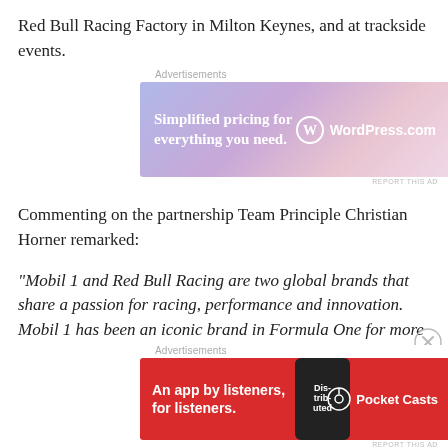Red Bull Racing Factory in Milton Keynes, and at trackside events.
[Figure (other): WordPress.com advertisement banner: 'Simplified pricing for everything you need.' with WordPress logo on gradient purple-pink background]
Commenting on the partnership Team Principle Christian Horner remarked:
“Mobil 1 and Red Bull Racing are two global brands that share a passion for racing, performance and innovation. Mobil 1 has been an iconic brand in Formula One for more than 30 years and our new partnership provides us with a unique opportunity to tap into ExxonMobil’s world class expertise.”
Christian added: “In addition to welcoming ExxonMobil to the
[Figure (other): Pocket Casts advertisement banner: 'An app by listeners, for listeners.' with Pocket Casts logo on red background with phone graphic]